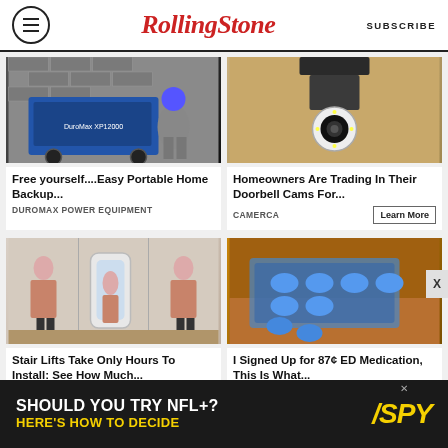RollingStone | SUBSCRIBE
[Figure (photo): Person kneeling next to a portable generator (DuroMax XP12000) outdoors against a brick wall]
Free yourself....Easy Portable Home Backup...
DUROMAX POWER EQUIPMENT
[Figure (photo): Security camera mounted on exterior wall of a house under an outdoor light fixture]
Homeowners Are Trading In Their Doorbell Cams For...
CAMERCA
[Figure (photo): Three-panel image showing a home stair lift / elevator in different positions with a woman in each panel]
Stair Lifts Take Only Hours To Install: See How Much...
[Figure (photo): Blue oval pills/tablets in a blister pack and loose on a wooden surface]
I Signed Up for 87¢ ED Medication, This Is What...
SHOULD YOU TRY NFL+? HERE'S HOW TO DECIDE
[Figure (logo): SPY logo in yellow/italic on dark background]